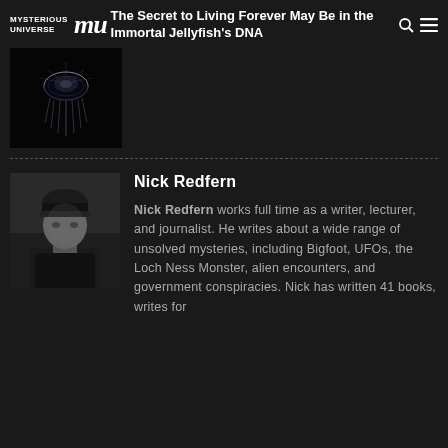Mysterious Universe MU — The Secret to Living Forever May Be in the Immortal Jellyfish's DNA
[Figure (photo): Dark image of a glowing jellyfish on black background]
[Figure (photo): Black and white photo of Nick Redfern wearing a dark beanie hat]
Nick Redfern
Nick Redfern works full time as a writer, lecturer, and journalist. He writes about a wide range of unsolved mysteries, including Bigfoot, UFOs, the Loch Ness Monster, alien encounters, and government conspiracies. Nick has written 41 books, writes for